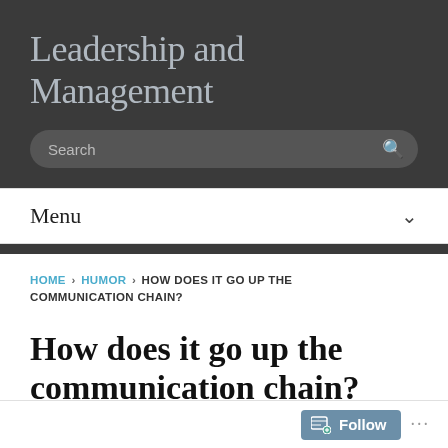Leadership and Management
Search
Menu
HOME › HUMOR › HOW DOES IT GO UP THE COMMUNICATION CHAIN?
How does it go up the communication chain?
BY VIRK on OCTOBER 15, 2009 · ( 0 )
Follow